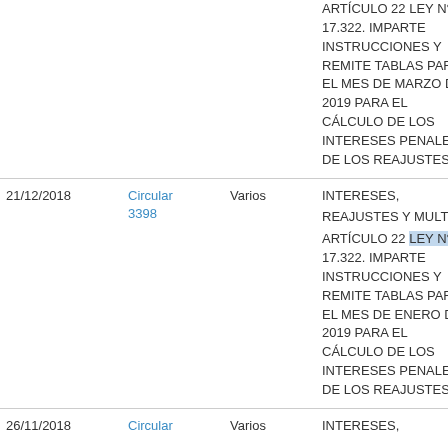| Fecha | Documento | Tipo | Descripción |
| --- | --- | --- | --- |
|  |  |  | ARTÍCULO 22 LEY N° 17.322. IMPARTE INSTRUCCIONES Y REMITE TABLAS PARA EL MES DE MARZO DE 2019 PARA EL CÁLCULO DE LOS INTERESES PENALES DE LOS REAJUSTES. |
| 21/12/2018 | Circular 3398 | Varios | INTERESES, REAJUSTES Y MULTAS ARTÍCULO 22 LEY N° 17.322. IMPARTE INSTRUCCIONES Y REMITE TABLAS PARA EL MES DE ENERO DE 2019 PARA EL CÁLCULO DE LOS INTERESES PENALES DE LOS REAJUSTES. |
| 26/11/2018 | Circular | Varios | INTERESES... |